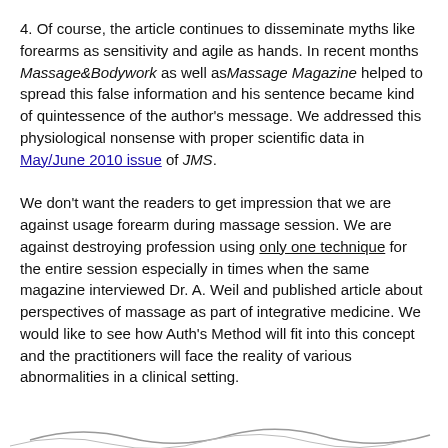4. Of course, the article continues to disseminate myths like forearms as sensitivity and agile as hands. In recent months Massage&Bodywork as well as Massage Magazine helped to spread this false information and his sentence became kind of quintessence of the author's message. We addressed this physiological nonsense with proper scientific data in May/June 2010 issue of JMS.
We don't want the readers to get impression that we are against usage forearm during massage session. We are against destroying profession using only one technique for the entire session especially in times when the same magazine interviewed Dr. A. Weil and published article about perspectives of massage as part of integrative medicine. We would like to see how Auth's Method will fit into this concept and the practitioners will face the reality of various abnormalities in a clinical setting.